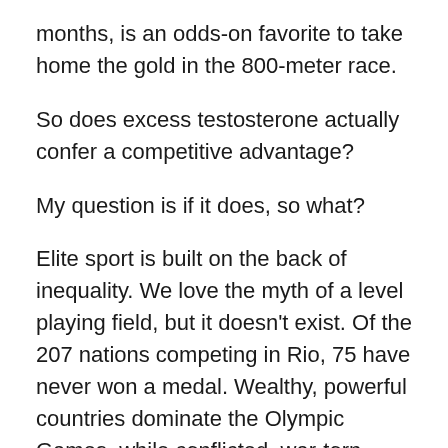months, is an odds-on favorite to take home the gold in the 800-meter race.
So does excess testosterone actually confer a competitive advantage?
My question is if it does, so what?
Elite sport is built on the back of inequality. We love the myth of a level playing field, but it doesn’t exist. Of the 207 nations competing in Rio, 75 have never won a medal. Wealthy, powerful countries dominate the Olympic Games, while conflicted, war-torn, impoverished countries simply lack the resources to promote sport to the level that will produce Olympic champions. That’s a clear disparity that raises little